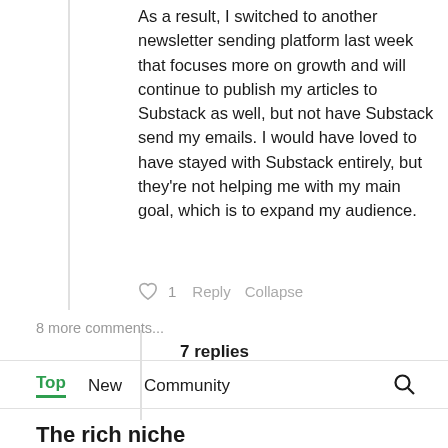As a result, I switched to another newsletter sending platform last week that focuses more on growth and will continue to publish my articles to Substack as well, but not have Substack send my emails. I would have loved to have stayed with Substack entirely, but they're not helping me with my main goal, which is to expand my audience.
♡ 1   Reply   Collapse
7 replies
8 more comments...
Top   New   Community
The rich niche